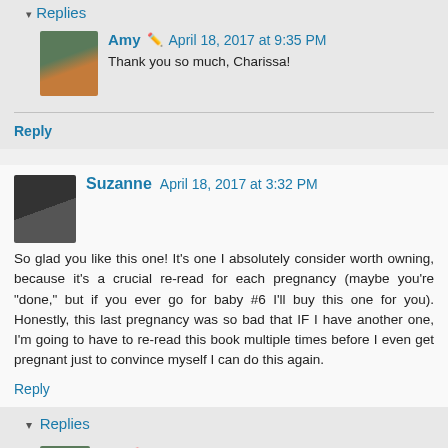Replies
Amy · April 18, 2017 at 9:35 PM
Thank you so much, Charissa!
Reply
Suzanne  April 18, 2017 at 3:32 PM
So glad you like this one! It's one I absolutely consider worth owning, because it's a crucial re-read for each pregnancy (maybe you're "done," but if you ever go for baby #6 I'll buy this one for you). Honestly, this last pregnancy was so bad that IF I have another one, I'm going to have to re-read this book multiple times before I even get pregnant just to convince myself I can do this again.
Reply
Replies
Amy · April 18, 2017 at 9:37 PM